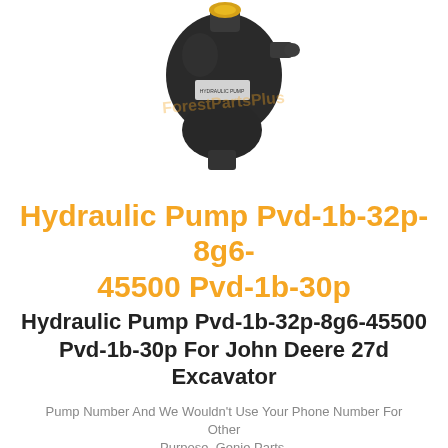[Figure (photo): A black hydraulic pump component photographed against a white background, with a yellow fitting visible on top. A watermark reading 'ForestPartsPlus' appears across the image.]
Hydraulic Pump Pvd-1b-32p-8g6-45500 Pvd-1b-30p
Hydraulic Pump Pvd-1b-32p-8g6-45500 Pvd-1b-30p For John Deere 27d Excavator
Pump Number And We Wouldn't Use Your Phone Number For Other Purpose. Genie Parts.